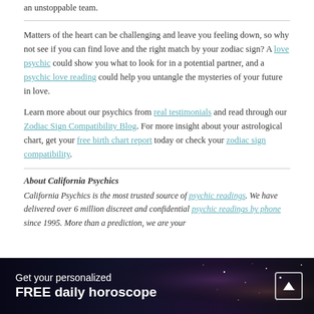an unstoppable team.
Matters of the heart can be challenging and leave you feeling down, so why not see if you can find love and the right match by your zodiac sign? A love psychic could show you what to look for in a potential partner, and a psychic love reading could help you untangle the mysteries of your future in love.
Learn more about our psychics from real testimonials and read through our Zodiac Sign Compatibility Blog. For more insight about your astrological chart, get your free birth chart report today or check your zodiac sign compatibility.
About California Psychics
California Psychics is the most trusted source of psychic readings. We have delivered over 6 million discreet and confidential psychic readings by phone since 1995. More than a prediction, we are your
Get your personalized FREE daily horoscope